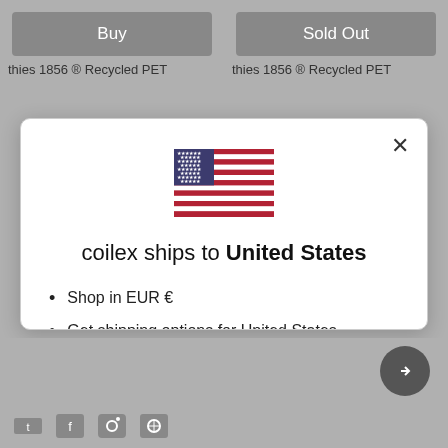[Figure (screenshot): Background page showing two product buttons: 'Buy' (gray) and 'Sold Out' (gray), with partial product labels 'thies 1856 ® Recycled PET' on each side]
thies 1856 ® Recycled PET
thies 1856 ® Recycled PET
[Figure (screenshot): Modal dialog popup with US flag, title 'coilex ships to United States', bullet points, Shop now button, and Change shipping country link]
coilex ships to United States
Shop in EUR €
Get shipping options for United States
Shop now
Change shipping country